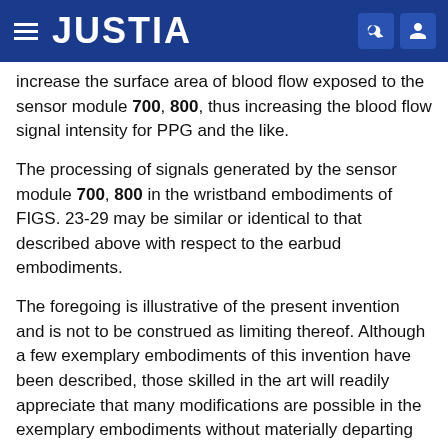JUSTIA
increase the surface area of blood flow exposed to the sensor module 700, 800, thus increasing the blood flow signal intensity for PPG and the like.
The processing of signals generated by the sensor module 700, 800 in the wristband embodiments of FIGS. 23-29 may be similar or identical to that described above with respect to the earbud embodiments.
The foregoing is illustrative of the present invention and is not to be construed as limiting thereof. Although a few exemplary embodiments of this invention have been described, those skilled in the art will readily appreciate that many modifications are possible in the exemplary embodiments without materially departing from the teachings and advantages of this invention. Accordingly, all such modifications are intended to be included within the scope of this invention as defined in the claims. The